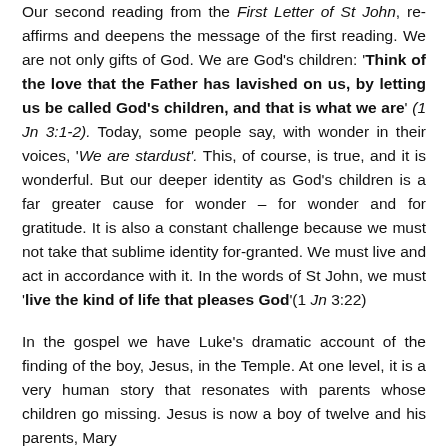Our second reading from the First Letter of St John, re-affirms and deepens the message of the first reading. We are not only gifts of God. We are God's children: 'Think of the love that the Father has lavished on us, by letting us be called God's children, and that is what we are' (1 Jn 3:1-2). Today, some people say, with wonder in their voices, 'We are stardust'. This, of course, is true, and it is wonderful. But our deeper identity as God's children is a far greater cause for wonder – for wonder and for gratitude. It is also a constant challenge because we must not take that sublime identity for-granted. We must live and act in accordance with it. In the words of St John, we must 'live the kind of life that pleases God' (1 Jn 3:22)
In the gospel we have Luke's dramatic account of the finding of the boy, Jesus, in the Temple. At one level, it is a very human story that resonates with parents whose children go missing. Jesus is now a boy of twelve and his parents, Mary